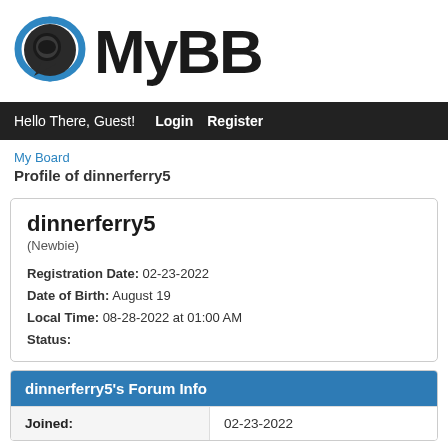[Figure (logo): MyBB logo: blue speech bubble icon with dark background circle and blue arc, followed by bold black text 'MyBB']
Hello There, Guest!  Login  Register
My Board
Profile of dinnerferry5
dinnerferry5
(Newbie)
Registration Date: 02-23-2022
Date of Birth: August 19
Local Time: 08-28-2022 at 01:00 AM
Status:
|  |  |
| --- | --- |
| Joined: | 02-23-2022 |